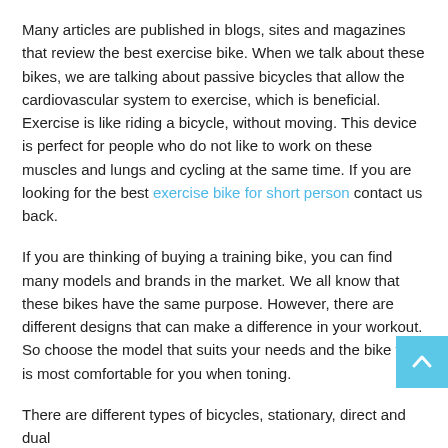Many articles are published in blogs, sites and magazines that review the best exercise bike. When we talk about these bikes, we are talking about passive bicycles that allow the cardiovascular system to exercise, which is beneficial. Exercise is like riding a bicycle, without moving. This device is perfect for people who do not like to work on these muscles and lungs and cycling at the same time. If you are looking for the best exercise bike for short person contact us back.
If you are thinking of buying a training bike, you can find many models and brands in the market. We all know that these bikes have the same purpose. However, there are different designs that can make a difference in your workout. So choose the model that suits your needs and the bike that is most comfortable for you when toning.
There are different types of bicycles, stationary, direct and dual